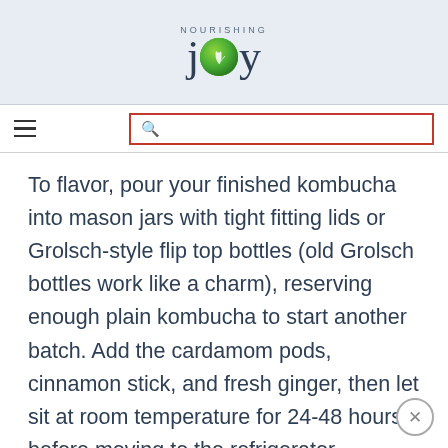NOURISHING joy
To flavor, pour your finished kombucha into mason jars with tight fitting lids or Grolsch-style flip top bottles (old Grolsch bottles work like a charm), reserving enough plain kombucha to start another batch. Add the cardamom pods, cinnamon stick, and fresh ginger, then let sit at room temperature for 24-48 hours before moving to the refrigerator.